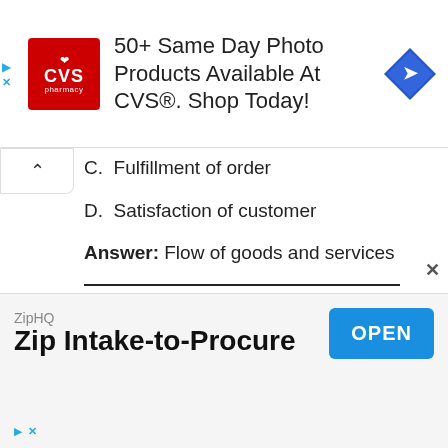[Figure (other): CVS Pharmacy advertisement banner: '50+ Same Day Photo Products Available At CVS®. Shop Today!' with CVS logo and navigation icon]
C.  Fulfillment of order
D.  Satisfaction of customer
Answer: Flow of goods and services
9.  ________ is not a part of flows involved in supply chain management.
[Figure (other): ZipHQ advertisement banner: 'Zip Intake-to-Procure' with OPEN button]